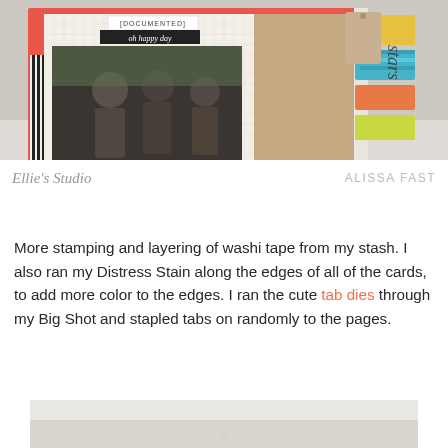[Figure (photo): Scrapbook/memory album photo showing a decorated journal or mini album with photos of people, grid paper, kraft paper, colorful tabs, and black-and-white twine. Branding shows Ellie's Studio and ALISSA FAST.]
More stamping and layering of washi tape from my stash. I also ran my Distress Stain along the edges of all of the cards, to add more color to the edges. I ran the cute tab dies through my Big Shot and stapled tabs on randomly to the pages.
[Figure (photo): Bottom portion of a second photo showing a light gray/white surface, partially visible.]